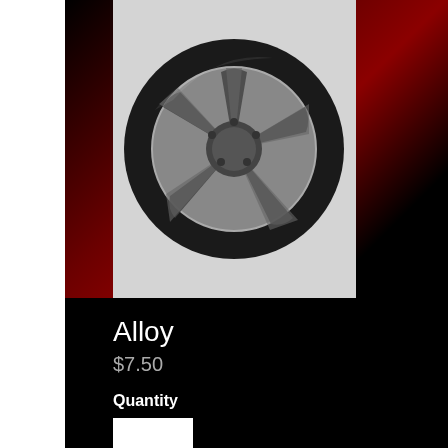[Figure (photo): An alloy car wheel/tire product photo on a light gray background]
Alloy
$7.50
Quantity